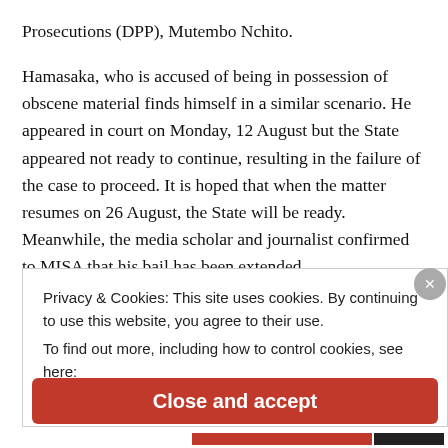Prosecutions (DPP), Mutembo Nchito.
Hamasaka, who is accused of being in possession of obscene material finds himself in a similar scenario. He appeared in court on Monday, 12 August but the State appeared not ready to continue, resulting in the failure of the case to proceed. It is hoped that when the matter resumes on 26 August, the State will be ready. Meanwhile, the media scholar and journalist confirmed to MISA that his bail has been extended.
Privacy & Cookies: This site uses cookies. By continuing to use this website, you agree to their use.
To find out more, including how to control cookies, see here:
Cookie Policy
Close and accept